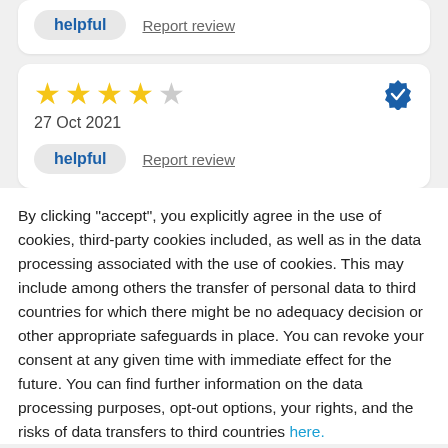helpful   Report review
★★★★☆  27 Oct 2021
helpful   Report review
By clicking "accept", you explicitly agree in the use of cookies, third-party cookies included, as well as in the data processing associated with the use of cookies. This may include among others the transfer of personal data to third countries for which there might be no adequacy decision or other appropriate safeguards in place. You can revoke your consent at any given time with immediate effect for the future. You can find further information on the data processing purposes, opt-out options, your rights, and the risks of data transfers to third countries here.
ACCEPT